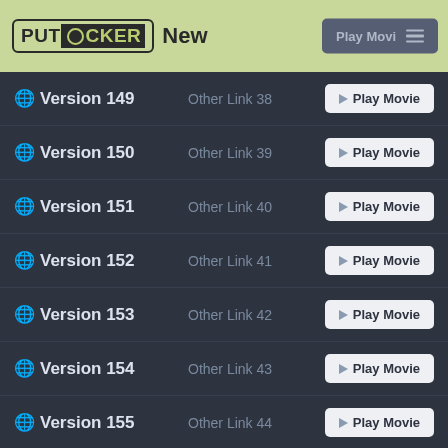[Figure (logo): PutLocker New logo in header with navigation button]
Version 149 - Other Link 38 - Play Movie
Version 150 - Other Link 39 - Play Movie
Version 151 - Other Link 40 - Play Movie
Version 152 - Other Link 41 - Play Movie
Version 153 - Other Link 42 - Play Movie
Version 154 - Other Link 43 - Play Movie
Version 155 - Other Link 44 - Play Movie
Version 156 - Other Link 45 - Play Movie
Version 157 - Other Link 46 - Play Movie
Version 158 - Other Link 47 - Play Movie